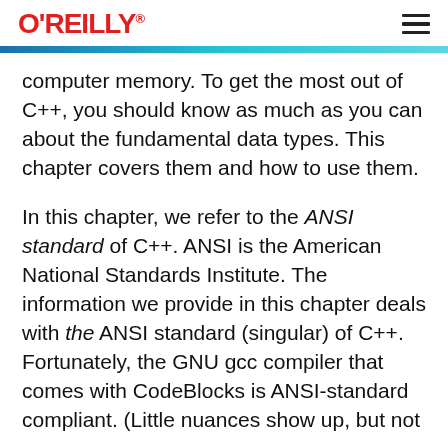O'REILLY
computer memory. To get the most out of C++, you should know as much as you can about the fundamental data types. This chapter covers them and how to use them.
In this chapter, we refer to the ANSI standard of C++. ANSI is the American National Standards Institute. The information we provide in this chapter deals with the ANSI standard (singular) of C++. Fortunately, the GNU gcc compiler that comes with CodeBlocks is ANSI-standard compliant. (Little nuances show up, but not